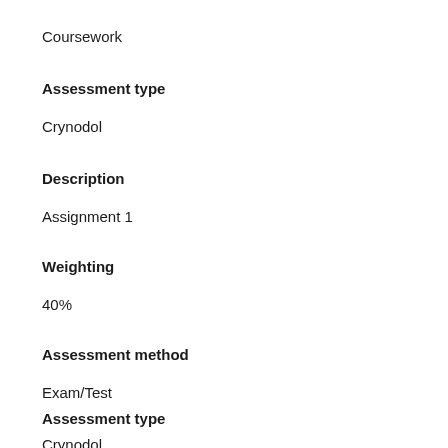Coursework
Assessment type
Crynodol
Description
Assignment 1
Weighting
40%
Assessment method
Exam/Test
Assessment type
Crynodol